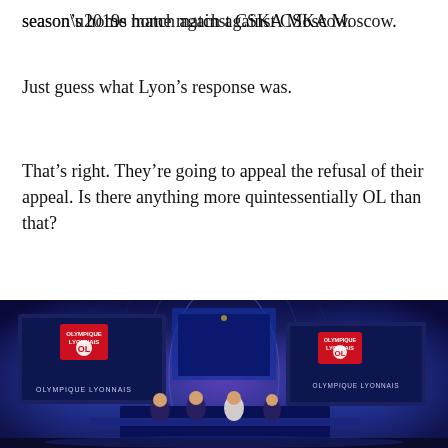season’s home match against CSKA Moscow.
Just guess what Lyon’s response was.
That’s right. They’re going to appeal the refusal of their appeal. Is there anything more quintessentially OL than that?
CONTINUE READING →
[Figure (photo): UEFA Champions League draw event stage with blue and purple lighting. Two large screens on either side display the Olympique Lyonnais (OL) logo and name. Presenters are seated at a desk in the center. UEFA Champions League backdrop visible in the middle.]